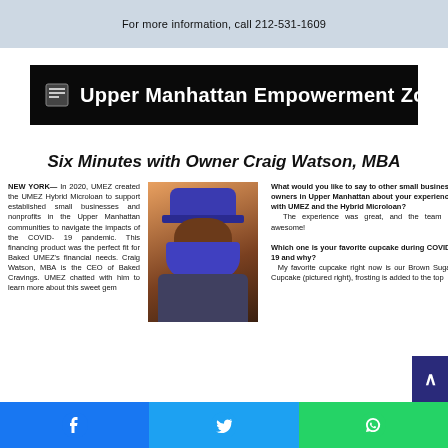For more information, call 212-531-1609
Upper Manhattan Empowerment Zone: Baked Cravings
Six Minutes with Owner Craig Watson, MBA
NEW YORK— In 2020, UMEZ created the UMEZ Hybrid Microloan to support established small businesses and nonprofits in the Upper Manhattan communities to navigate the impacts of the COVID-19 pandemic. This financing product was the perfect fit for Baked UMEZ's financial needs. Craig Watson, MBA is the CEO of Baked Cravings. UMEZ chatted with him to learn more about this sweet gem
[Figure (photo): Photo of Craig Watson wearing a blue face mask and a 'Baked Cravings' branded cap]
What would you like to say to other small business owners in Upper Manhattan about your experience with UMEZ and the Hybrid Microloan?
The experience was great, and the team is awesome!

Which one is your favorite cupcake during COVID-19 and why?
My favorite cupcake right now is our Brown Sugar Cupcake (pictured right), frosting is added to the top